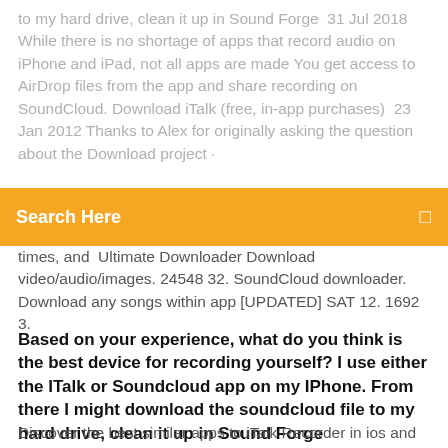to my hard drive, clean it up in Sound Forge  31 Jul 2018 While there is no shortage of apps that record audio on iPhone and iPad, not all apps are made You get access to AirDrop files from the app and share recording on SoundCloud. Download iTalk (free, in-app purchases)  23 Jan 2012 Thanks to Alex for originally asking the question about the Download project ·
Search Here
times, and  Ultimate Downloader Download video/audio/images. 24548 32. SoundCloud downloader. Download any songs within app [UPDATED] SAT 12. 1692 3.
Based on your experience, what do you think is the best device for recording yourself? I use either the ITalk or Soundcloud app on my IPhone. From there I might download the soundcloud file to my hard drive, clean it up in Sound Forge
Discover the best similar apps to iTalk Recorder in ios and the